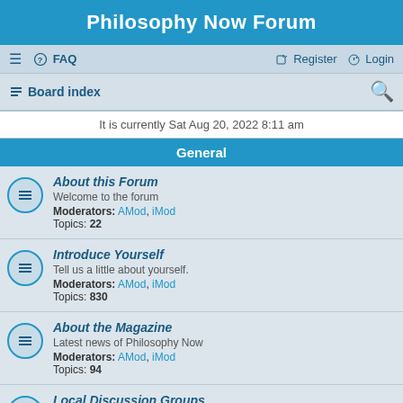Philosophy Now Forum
≡   FAQ   Register   Login
Board index
It is currently Sat Aug 20, 2022 8:11 am
General
About this Forum
Welcome to the forum
Moderators: AMod, iMod
Topics: 22
Introduce Yourself
Tell us a little about yourself.
Moderators: AMod, iMod
Topics: 830
About the Magazine
Latest news of Philosophy Now
Moderators: AMod, iMod
Topics: 94
Local Discussion Groups
Philosophy Now meetup groups.
Moderators: AMod, iMod
Topics: 49
The Lounge
General chit-chat